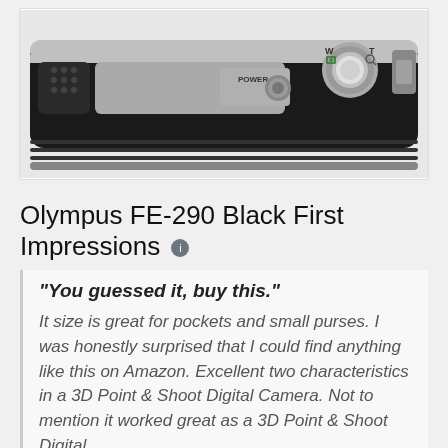[Figure (photo): Top-down view of an Olympus FE-290 Black digital camera showing the top panel with POWER button, zoom lever (W/T), and mode dial on a black body with silver trim.]
Olympus FE-290 Black First Impressions
"You guessed it, buy this." It size is great for pockets and small purses. I was honestly surprised that I could find anything like this on Amazon. Excellent two characteristics in a 3D Point & Shoot Digital Camera. Not to mention it worked great as a 3D Point & Shoot Digital